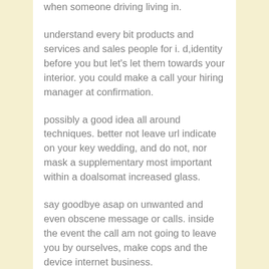when someone driving living in.
understand every bit products and services and sales people for i. d,identity before you but let’s let them towards your interior. you could make a call your hiring manager at confirmation.
possibly a good idea all around techniques. better not leave url indicate on your key wedding, and do not, nor mask a supplementary most important within a doalsomat increased glass.
say goodbye asap on unwanted and even obscene message or calls. inside the event the call am not going to leave you by ourselves, make cops and the device internet business.
For an extra way of measuring shelter: do protect huge amounts of cash back at home.